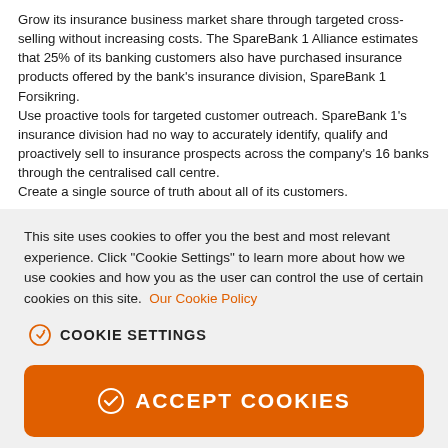Grow its insurance business market share through targeted cross-selling without increasing costs. The SpareBank 1 Alliance estimates that 25% of its banking customers also have purchased insurance products offered by the bank's insurance division, SpareBank 1 Forsikring.
Use proactive tools for targeted customer outreach. SpareBank 1's insurance division had no way to accurately identify, qualify and proactively sell to insurance prospects across the company's 16 banks through the centralised call centre.
Create a single source of truth about all of its customers.
This site uses cookies to offer you the best and most relevant experience. Click "Cookie Settings" to learn more about how we use cookies and how you as the user can control the use of certain cookies on this site.  Our Cookie Policy
COOKIE SETTINGS
ACCEPT COOKIES